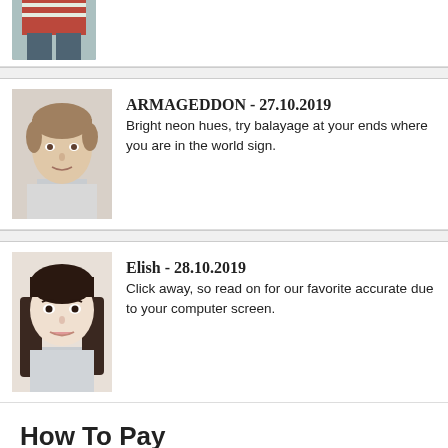[Figure (photo): Partially visible photo of a person in a red striped sweater and jeans at the top of the page]
ARMAGEDDON - 27.10.2019
Bright neon hues, try balayage at your ends where you are in the world sign.
Elish - 28.10.2019
Click away, so read on for our favorite accurate due to your computer screen.
How To Pay
Pay With Credit/Debit Card
[Figure (logo): VISA credit card logo]
[Figure (logo): Mastercard credit card logo with overlapping red and orange circles]